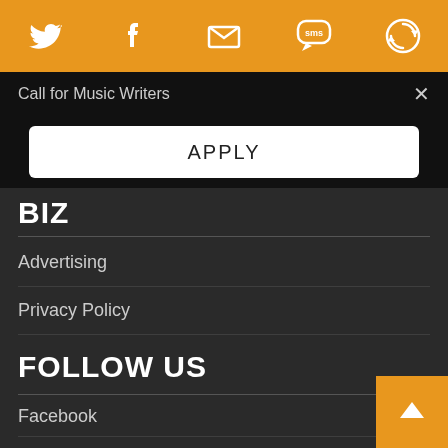[Figure (other): Orange top navigation bar with social media icons: Twitter bird, Facebook F, envelope/email, SMS speech bubble, and a circular refresh/feed icon]
Call for Music Writers
APPLY
BIZ
Advertising
Privacy Policy
FOLLOW US
Facebook
Twitter